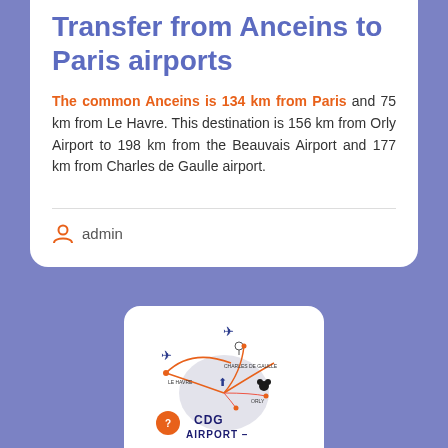Transfer from Anceins to Paris airports
The common Anceins is 134 km from Paris and 75 km from Le Havre. This destination is 156 km from Orly Airport to 198 km from the Beauvais Airport and 177 km from Charles de Gaulle airport.
admin
[Figure (map): Map showing CDG airport and surrounding area with route lines and location markers. Shows CDG AIRPORT label at bottom.]